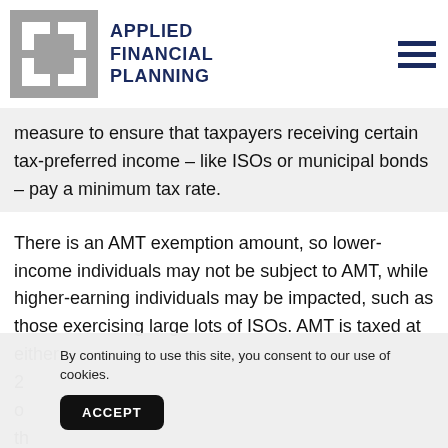[Figure (logo): Applied Financial Planning logo with grey grid icon and dark navy bold text reading APPLIED FINANCIAL PLANNING]
measure to ensure that taxpayers receiving certain tax-preferred income – like ISOs or municipal bonds – pay a minimum tax rate.
There is an AMT exemption amount, so lower-income individuals may not be subject to AMT, while higher-earning individuals may be impacted, such as those exercising large lots of ISOs. AMT is taxed at either 2... o... th...
By continuing to use this site, you consent to our use of cookies.